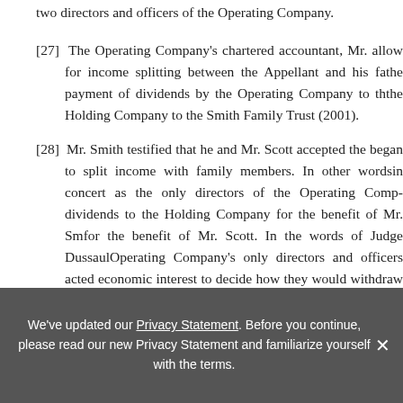two directors and officers of the Operating Company.
[27]  The Operating Company's chartered accountant, Mr. [...]  allow for income splitting between the Appellant and his fa[mily]  the payment of dividends by the Operating Company to th[e]  the Holding Company to the Smith Family Trust (2001).
[28]  Mr. Smith testified that he and Mr. Scott accepted the [advice and]  began to split income with family members. In other words[,]  in concert as the only directors of the Operating Comp[any,]  dividends to the Holding Company for the benefit of Mr. Sm[ith and]  for the benefit of Mr. Scott. In the words of Judge Dussaul[t,]  Operating Company's only directors and officers acted [in their own]  economic interest to decide how they would withdraw th[e]  Company for their personal use.
[29]  I do not accept the Appellant's argument that Mr. Sc[ott]  respect to the payment of dividends. This is not consistent[...]
We've updated our Privacy Statement. Before you continue, please read our new Privacy Statement and familiarize yourself with the terms.